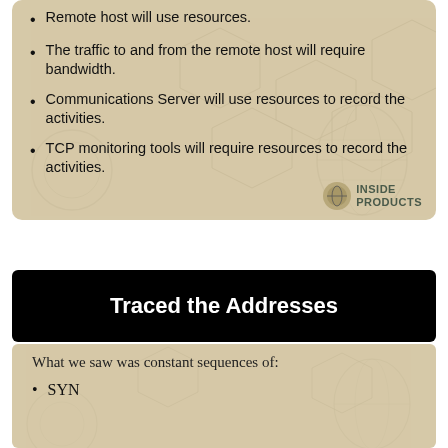Remote host will use resources.
The traffic to and from the remote host will require bandwidth.
Communications Server will use resources to record the activities.
TCP monitoring tools will require resources to record the activities.
Traced the Addresses
What we saw was constant sequences of:
SYN